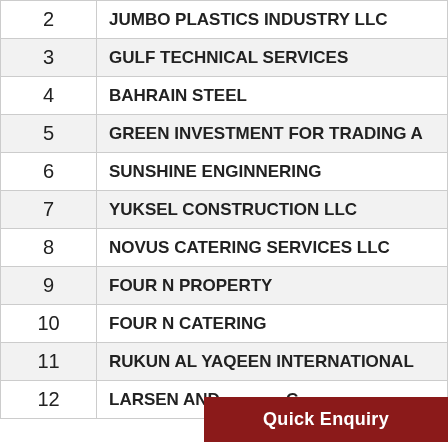| # | Company Name |
| --- | --- |
| 2 | JUMBO PLASTICS INDUSTRY LLC |
| 3 | GULF TECHNICAL SERVICES |
| 4 | BAHRAIN STEEL |
| 5 | GREEN INVESTMENT FOR TRADING A... |
| 6 | SUNSHINE ENGINNERING |
| 7 | YUKSEL CONSTRUCTION LLC |
| 8 | NOVUS CATERING SERVICES LLC |
| 9 | FOUR N PROPERTY |
| 10 | FOUR N CATERING |
| 11 | RUKUN AL YAQEEN INTERNATIONAL |
| 12 | LARSEN AND ...C |
Quick Enquiry